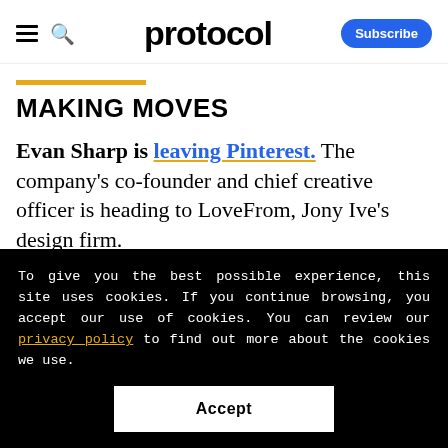protocol — Subscribe
MAKING MOVES
Evan Sharp is leaving Pinterest. The company's co-founder and chief creative officer is heading to LoveFrom, Jony Ive's design firm.
To give you the best possible experience, this site uses cookies. If you continue browsing, you accept our use of cookies. You can review our privacy policy to find out more about the cookies we use.
Accept